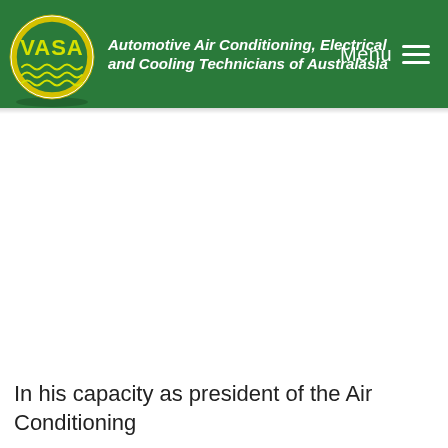[Figure (logo): VASA logo — circular yellow and green emblem with 'VASA' text and wavy lines at bottom, alongside green header bar with organization name 'Automotive Air Conditioning, Electrical and Cooling Technicians of Australasia' in white italic text and a Menu hamburger icon on the right]
In his capacity as president of the Air Conditioning